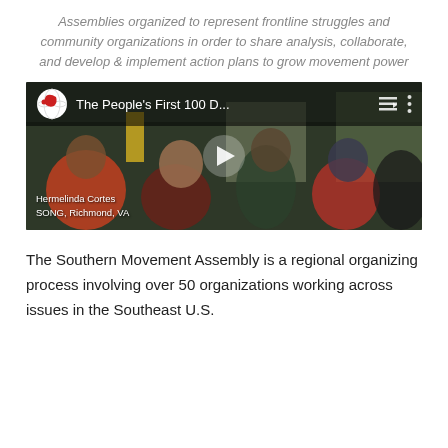Assemblies organized to represent frontline struggles and community organizations in order to share analysis, collaborate, and develop & implement action plans to grow movement power
[Figure (screenshot): YouTube video thumbnail showing a crowd of people at an indoor community event. Video title reads 'The People's First 100 D...' with a YouTube globe logo. A play button is visible in the center. Caption at bottom left reads 'Hermelinda Cortes / SONG, Richmond, VA'.]
The Southern Movement Assembly is a regional organizing process involving over 50 organizations working across issues in the Southeast U.S.